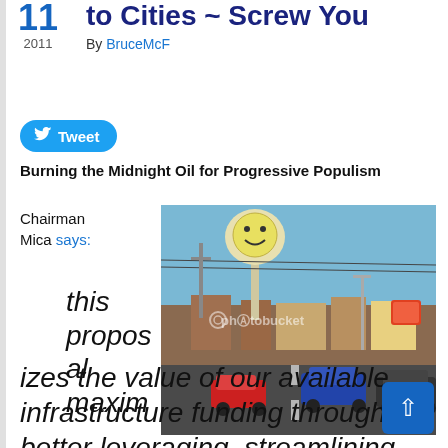11
2011
to Cities ~ Screw You
By BruceMcF
Tweet
Burning the Midnight Oil for Progressive Populism
Chairman Mica says:
[Figure (photo): Street scene with a smiley-face water tower, commercial strip with cars on a multi-lane road, Photobucket watermark visible]
this proposal maximizes the value of our available infrastructure funding through better leveraging, streamlining the